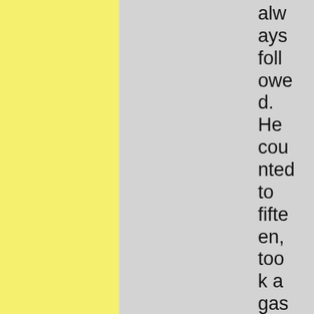always followed. He counted to fifteen, took a gaspy breath, and finished it off